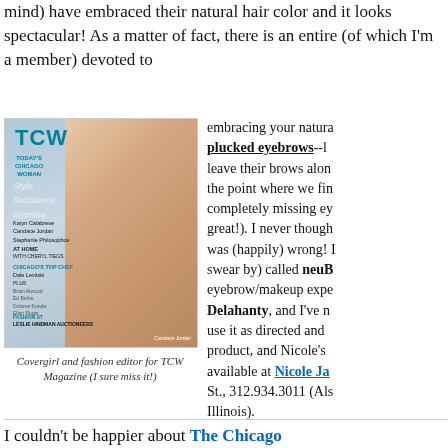mind) have embraced their natural hair color and it looks spectacular! As a matter of fact, there is an entire (of which I'm a member) devoted to
[Figure (photo): Magazine cover of TCW (Today's Chicago Woman) featuring Candace Jordan smiling, wearing a coral top and turquoise necklace, with text listing Style, Substance, Stamina, and various featured names.]
Covergirl and fashion editor for TCW Magazine (I sure miss it!)
embracing your natural plucked eyebrows--leave their brows along to the point where we find completely missing eyebrows great!). I never thought was (happily) wrong! swear by) called neuB eyebrow/makeup expe Delahanty, and I've n use it as directed and product, and Nicole's available at Nicole Ja St., 312.934.3011 (Als Illinois).
I couldn't be happier about The Chicago